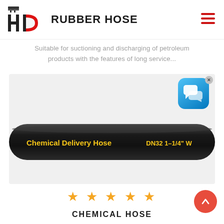HD RUBBER HOSE
Suitable for suctioning and discharging of petroleum products with the features of long service...
[Figure (photo): Black chemical delivery hose with yellow text reading 'Chemical Delivery Hose DN32 1-1/4"' on dark background with light gray product display area. A blue chat support widget with speech bubbles icon overlays the top right corner.]
★ ★ ★ ★ ★
CHEMICAL HOSE